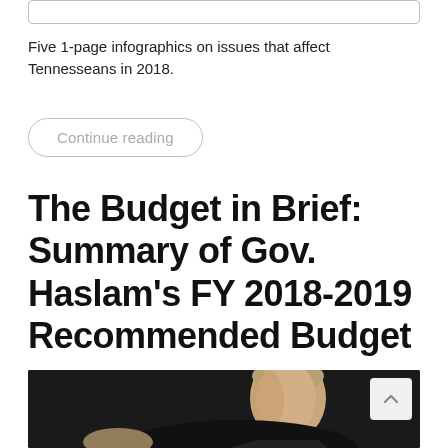Five 1-page infographics on issues that affect Tennesseans in 2018.
Continue reading
The Budget in Brief: Summary of Gov. Haslam's FY 2018-2019 Recommended Budget
[Figure (photo): Photo of a man (Gov. Haslam) speaking, shown from chest up, with dark background.]